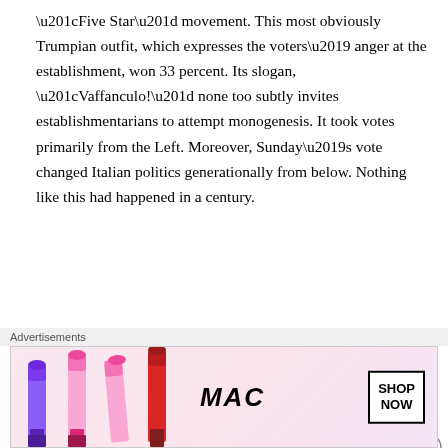“Five Star” movement. This most obviously Trumpian outfit, which expresses the voters’ anger at the establishment, won 33 percent. Its slogan, “Vaffanculo!” none too subtly invites establishmentarians to attempt monogenesis. It took votes primarily from the Left. Moreover, Sunday’s vote changed Italian politics generationally from below. Nothing like this had happened in a century.
https://amgreatness.com/2018/03/05/apocalypse-ciao-italys-trump-election/
ADD: Leave it to the Italians to have a political
Advertisements
[Figure (other): MAC Cosmetics advertisement banner showing lipsticks in purple, peach, and pink colors with MAC logo and SHOP NOW button]